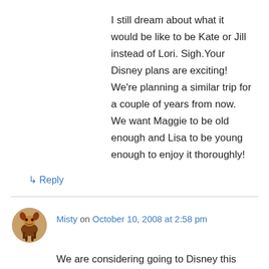I still dream about what it would be like to be Kate or Jill instead of Lori. Sigh.Your Disney plans are exciting! We’re planning a similar trip for a couple of years from now. We want Maggie to be old enough and Lisa to be young enough to enjoy it thoroughly!
↳ Reply
Misty on October 10, 2008 at 2:58 pm
We are considering going to Disney this spring as well.The last time we went, Jelly Bean was about 6 months old. I got a really excellent book that helped a lot with the whole fiasco as well. It was entitled The Unofficial Guide Walt Disney World. It was seriously helpful. I probably